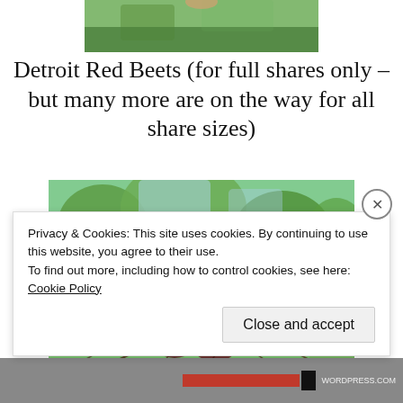[Figure (photo): Partial view of a photo showing green trees/foliage at the top of the page]
Detroit Red Beets (for full shares only – but many more are on the way for all share sizes)
[Figure (photo): Photo of a bunch of Detroit Red Beets with roots and soil, held against a backdrop of green trees]
Privacy & Cookies: This site uses cookies. By continuing to use this website, you agree to their use.
To find out more, including how to control cookies, see here: Cookie Policy
Close and accept